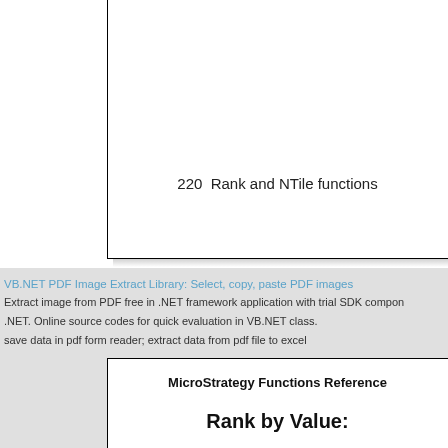220  Rank and NTile functions
VB.NET PDF Image Extract Library: Select, copy, paste PDF images
Extract image from PDF free in .NET framework application with trial SDK components for VB.NET. Online source codes for quick evaluation in VB.NET class.
save data in pdf form reader; extract data from pdf file to excel
MicroStrategy Functions Reference
Rank by Value: